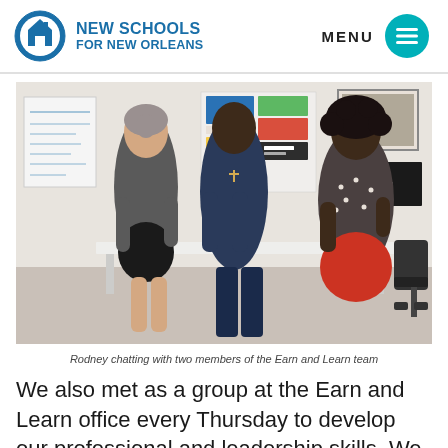NEW SCHOOLS FOR NEW ORLEANS
[Figure (photo): Three people standing and chatting in an office/conference room. A woman with grey hair on the left, a tall man in a navy polo shirt with a cross necklace in the center, and a woman with curly hair in a polka dot top and red pants on the right. Colorful posters on the wall behind them.]
Rodney chatting with two members of the Earn and Learn team
We also met as a group at the Earn and Learn office every Thursday to develop our professional and leadership skills. We worked on group